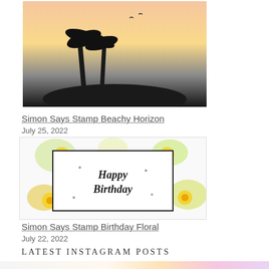[Figure (photo): Card with palm tree silhouette against sunset sky background - Simon Says Stamp Beachy Horizon]
Simon Says Stamp Beachy Horizon
July 25, 2022
[Figure (photo): Card with Happy Birthday script text surrounded by yellow floral design - Simon Says Stamp Birthday Floral]
Simon Says Stamp Birthday Floral
July 22, 2022
Latest Instagram Posts
[Figure (photo): Latest Instagram post showing craft supplies including ink pads and embossing tools]